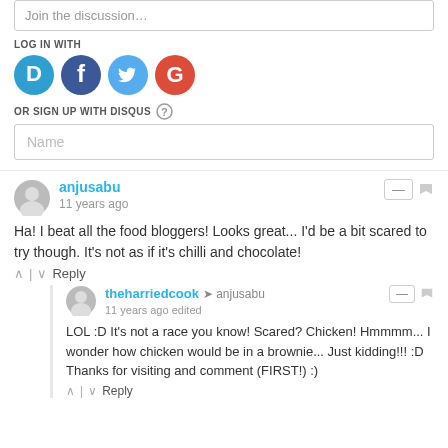Join the discussion…
LOG IN WITH
[Figure (infographic): Social login icons: Disqus (blue D), Facebook (dark blue f), Twitter (light blue bird), Google (red G)]
OR SIGN UP WITH DISQUS ?
Name
anjusabu
11 years ago
Ha! I beat all the food bloggers! Looks great... I'd be a bit scared to try though. It's not as if it's chilli and chocolate!
^ | v  Reply
theharriedcook → anjusabu
11 years ago edited
LOL :D It's not a race you know! Scared? Chicken! Hmmmm... I wonder how chicken would be in a brownie... Just kidding!!! :D Thanks for visiting and comment (FIRST!) :)
^ | v  Reply